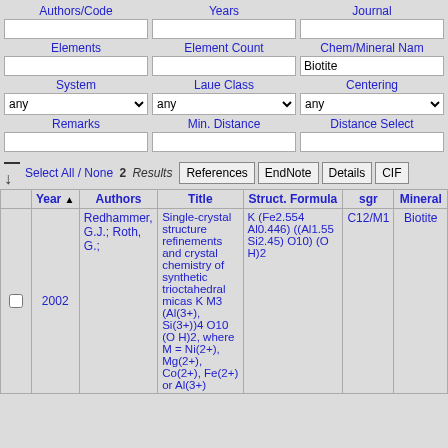[Figure (screenshot): Database search form with fields: Authors/Code, Years, Journal, Elements, Element Count, Chem/Mineral Name (filled with 'Biotite'), System (any), Laue Class (any), Centering (any), Remarks, Min. Distance, Distance Select]
|  | Year ▲ | Authors | Title | Struct. Formula | sgr | Mineral |
| --- | --- | --- | --- | --- | --- | --- |
| ☐ | 2002 | Redhammer, G.J.; Roth, G.; | Single-crystal structure refinements and crystal chemistry of synthetic trioctahedral micas K M3 (Al(3+), Si(3+))4 O10 (O H)2, where M = Ni(2+), Mg(2+), Co(2+), Fe(2+) or Al(3+) | K (Fe2.554 Al0.446) ((Al1.55 Si2.45) O10) (O H)2 | C12/M1 | Biotite |